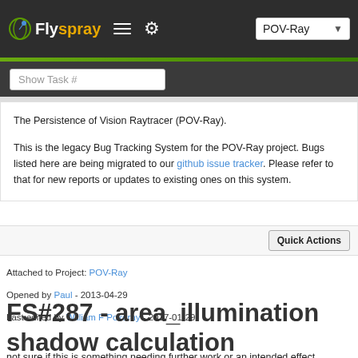Flyspray — POV-Ray (navigation bar with hamburger menu, gear icon, and project selector)
Show Task #
The Persistence of Vision Raytracer (POV-Ray).

This is the legacy Bug Tracking System for the POV-Ray project. Bugs listed here are being migrated to our github issue tracker. Please refer to that for new reports or updates to existing ones on this system.
Quick Actions
Attached to Project: POV-Ray
Opened by Paul - 2013-04-29
Last edited by William F Pokorny - 2017-01-29
FS#287 - area_illumination shadow calculation
not sure if this is something needing further work or an intended effect.